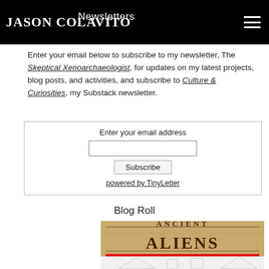JASON COLAVITO — Newsletters
Enter your email below to subscribe to my newsletter, The Skeptical Xenoarchaeologist, for updates on my latest projects, blog posts, and activities, and subscribe to Culture & Curiosities, my Substack newsletter.
[Figure (other): Email subscription form with text input for email address, Subscribe button, and 'powered by TinyLetter' link]
Blog Roll
[Figure (other): Ancient Aliens Debunked logo image — brown/tan background with 'ANCIENT ALIENS' in large serif and grunge text and 'DEBUNKED' in bold red block letters]
[Figure (other): Partial image at bottom showing geometric shapes on white background]